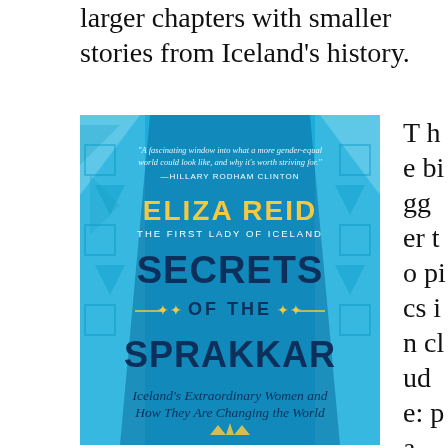larger chapters with smaller stories from Iceland's history.
[Figure (illustration): Book cover of 'Secrets of the Sprakkar' by Eliza Reid, The First Lady of Iceland. Blue cover with decorative Icelandic patterns. Quote from Hillary Rodham Clinton: 'A fascinating window into what a more gender-equal world could look like, and why it's worth striving for.' Subtitle: Iceland's Extraordinary Women and How They Are Changing the World.]
The bigger topics include: pa